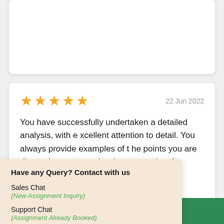[Figure (screenshot): Partially visible white card at top, content not visible]
[Figure (screenshot): Review card with 5-star rating dated 22 Jun 2022 and review text]
22 Jun 2022
You have successfully undertaken a detailed analysis, with excellent attention to detail. You always provide examples of the points you are discussing, or even develop your points fro
Have any Query? Contact with us
Sales Chat
(New Assignment Inquiry)
Support Chat
(Assignment Already Booked)
LIVE CHAT